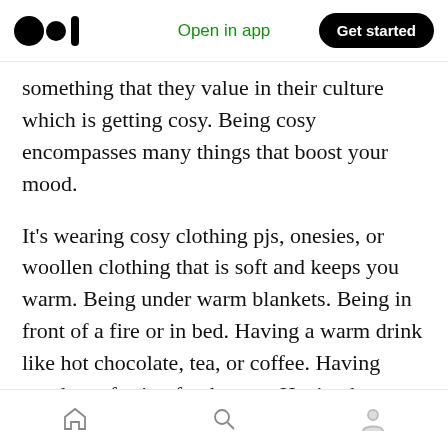Open in app | Get started
something that they value in their culture which is getting cosy. Being cosy encompasses many things that boost your mood.
It’s wearing cosy clothing pjs, onesies, or woollen clothing that is soft and keeps you warm. Being under warm blankets. Being in front of a fire or in bed. Having a warm drink like hot chocolate, tea, or coffee. Having good comforting food to eat. Having hugs with people you love. Having cosy lighting such as mood lights or candles.
We all naturally want to feel warm, safe, and
Home | Search | Profile